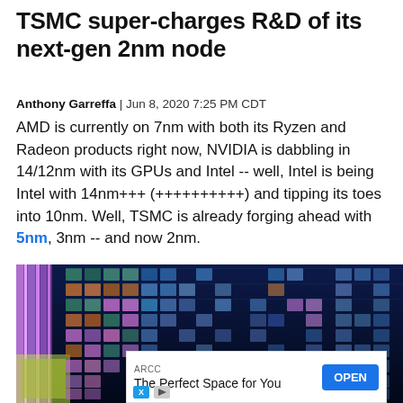TSMC super-charges R&D of its next-gen 2nm node
Anthony Garreffa | Jun 8, 2020 7:25 PM CDT
AMD is currently on 7nm with both its Ryzen and Radeon products right now, NVIDIA is dabbling in 14/12nm with its GPUs and Intel -- well, Intel is being Intel with 14nm+++ (++++++++++) and tipping its toes into 10nm. Well, TSMC is already forging ahead with 5nm, 3nm -- and now 2nm.
[Figure (photo): Close-up photograph of a semiconductor wafer showing an array of colorful microchips/dies arranged in a grid pattern on a dark background with purple and teal tones.]
ARCC
The Perfect Space for You
OPEN